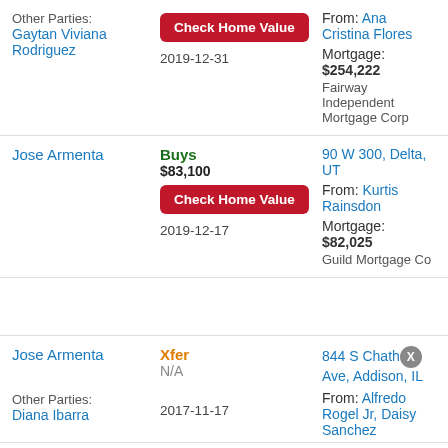Other Parties: Gaytan Viviana Rodriguez
Check Home Value
2019-12-31
From: Ana Cristina Flores
Mortgage: $254,222
Fairway Independent Mortgage Corp
Jose Armenta
Buys
$83,100
Check Home Value
2019-12-17
90 W 300, Delta, UT
From: Kurtis Rainsdon
Mortgage: $82,025
Guild Mortgage Co
Jose Armenta
Xfer
N/A
2017-11-17
844 S Chath[X]Ave, Addison, IL
From: Alfredo Rogel Jr, Daisy Sanchez
Other Parties: Diana Ibarra